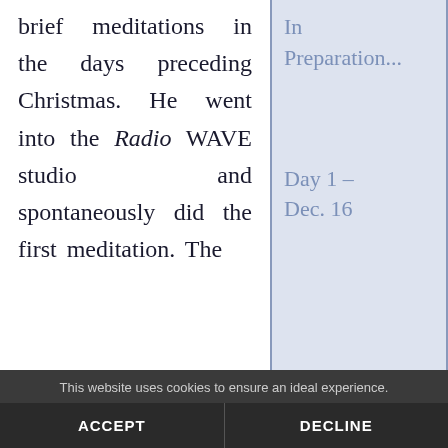brief meditations in the days preceding Christmas. He went into the Radio WAVE studio and spontaneously did the first meditation. The
In Preparation...
Day 1 – Dec. 16
This website uses cookies to ensure an ideal experience.
ACCEPT
DECLINE